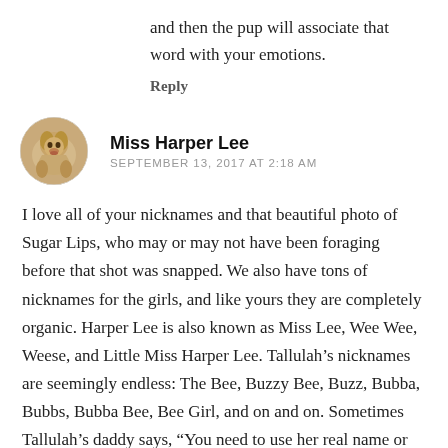and then the pup will associate that word with your emotions.
Reply
[Figure (photo): Circular avatar photo of a golden dog (Harper Lee) outdoors]
Miss Harper Lee
SEPTEMBER 13, 2017 AT 2:18 AM
I love all of your nicknames and that beautiful photo of Sugar Lips, who may or may not have been foraging before that shot was snapped. We also have tons of nicknames for the girls, and like yours they are completely organic. Harper Lee is also known as Miss Lee, Wee Wee, Weese, and Little Miss Harper Lee. Tallulah’s nicknames are seemingly endless: The Bee, Buzzy Bee, Buzz, Bubba, Bubbs, Bubba Bee, Bee Girl, and on and on. Sometimes Tallulah’s daddy says, “You need to use her real name or she’ll never know who she is. Silly, she’s all of the above!